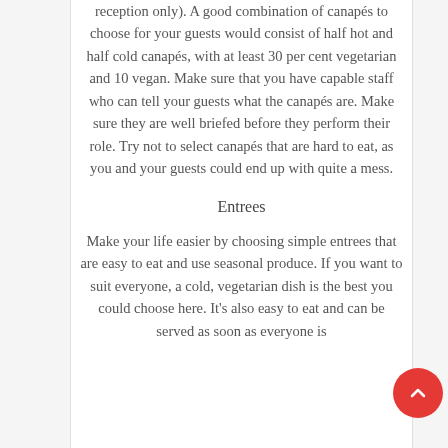reception only). A good combination of canapés to choose for your guests would consist of half hot and half cold canapés, with at least 30 per cent vegetarian and 10 vegan. Make sure that you have capable staff who can tell your guests what the canapés are. Make sure they are well briefed before they perform their role. Try not to select canapés that are hard to eat, as you and your guests could end up with quite a mess.
Entrees
Make your life easier by choosing simple entrees that are easy to eat and use seasonal produce. If you want to suit everyone, a cold, vegetarian dish is the best you could choose here. It's also easy to eat and can be served as soon as everyone is